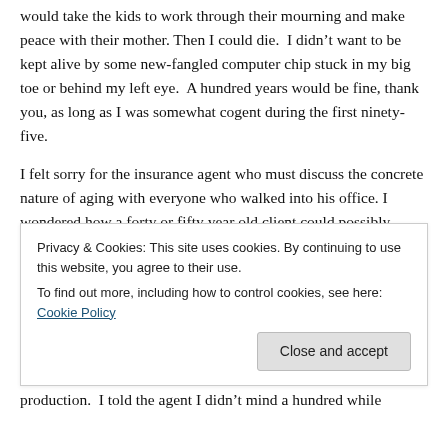would take the kids to work through their mourning and make peace with their mother. Then I could die.  I didn't want to be kept alive by some new-fangled computer chip stuck in my big toe or behind my left eye.  A hundred years would be fine, thank you, as long as I was somewhat cogent during the first ninety-five.
I felt sorry for the insurance agent who must discuss the concrete nature of aging with everyone who walked into his office. I wondered how a forty or fifty year old client could possibly imagine being sixty-seven, let alone ninety-seven. Still, I was not going to buy the upgrade just because I felt sorry for
Privacy & Cookies: This site uses cookies. By continuing to use this website, you agree to their use.
To find out more, including how to control cookies, see here: Cookie Policy
Close and accept
production. I told the agent I didn't mind a hundred while